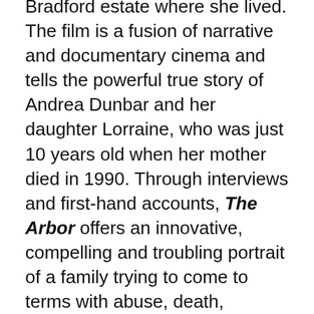Bradford estate where she lived. The film is a fusion of narrative and documentary cinema and tells the powerful true story of Andrea Dunbar and her daughter Lorraine, who was just 10 years old when her mother died in 1990. Through interviews and first-hand accounts, The Arbor offers an innovative, compelling and troubling portrait of a family trying to come to terms with abuse, death, addiction and poverty.
Clio Barnard, director of The Arbor, was joined by our invited speakers Mariah Garnett and Ed Webb-Ingall at Girdwood Community Centre on Saturday 14th April at 4pm for presentations and a discussion about different approaches to working